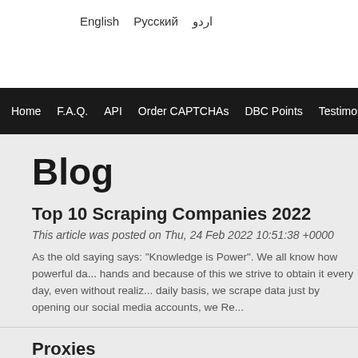English  Русский  اردو
Home  F.A.Q.  API  Order CAPTCHAs  DBC Points  Testimoni...
Blog
Top 10 Scraping Companies 2022
This article was posted on Thu, 24 Feb 2022 10:51:38 +0000
As the old saying says: "Knowledge is Power". We all know how powerful da... hands and because of this we strive to obtain it every day, even without realiz... daily basis, we scrape data just by opening our social media accounts, we Re...
Proxies